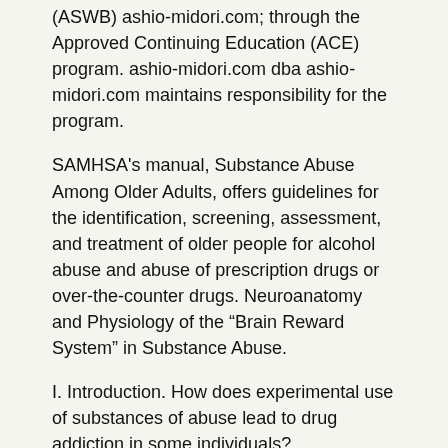(ASWB) ashio-midori.com; through the Approved Continuing Education (ACE) program. ashio-midori.com dba ashio-midori.com maintains responsibility for the program.
SAMHSA's manual, Substance Abuse Among Older Adults, offers guidelines for the identification, screening, assessment, and treatment of older people for alcohol abuse and abuse of prescription drugs or over-the-counter drugs. Neuroanatomy and Physiology of the “Brain Reward System” in Substance Abuse.
I. Introduction. How does experimental use of substances of abuse lead to drug addiction in some individuals?
| Alcohol Abuse and HIV in South Africa | | Review Article Therapeutic Communities for Addictions: |